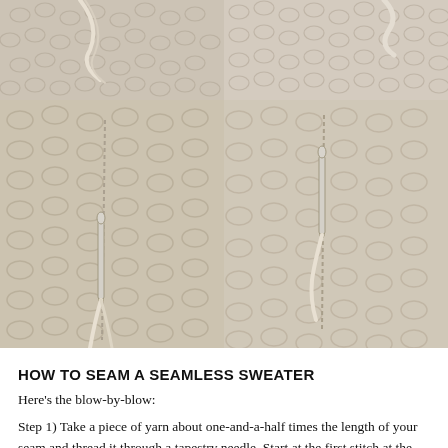[Figure (photo): Four-panel grid of close-up photos showing knitting seam technique on a cream/beige cable-knit sweater. Top row: two smaller photos showing yarn and knitting. Bottom row: two larger photos showing a tapestry needle being used to seam knitted fabric together, with yarn threaded through the needle visible against the textured knit surface.]
HOW TO SEAM A SEAMLESS SWEATER
Here's the blow-by-blow:
Step 1) Take a piece of yarn about one-and-a-half times the length of your seam and thread it through a tapestry needle. Start at the first stitch at the bottom of your basted seam. (I'm using my Amanda raglan seam to illustrate, so that the first stitch of my seam has an edge stitch.) Pick up the